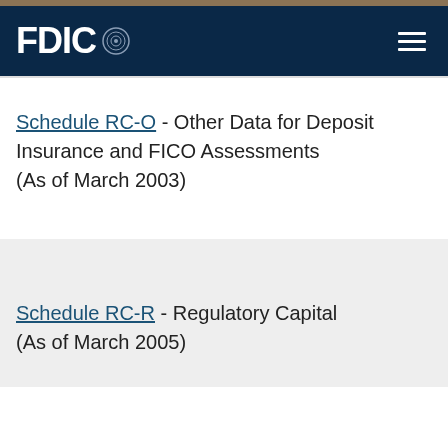FDIC
Schedule RC-O - Other Data for Deposit Insurance and FICO Assessments (As of March 2003)
Schedule RC-R - Regulatory Capital (As of March 2005)